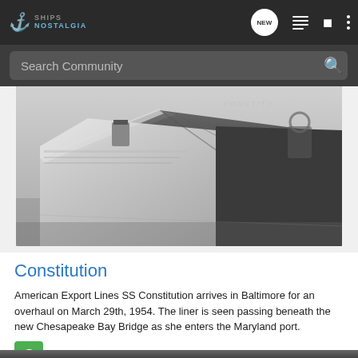SHIPS NOSTALGIA
[Figure (photo): Black and white photograph of SS Constitution ocean liner arriving in Baltimore, showing the bow of the ship from a low angle]
Constitution
American Export Lines SS Constitution arrives in Baltimore for an overhaul on March 29th, 1954. The liner is seen passing beneath the new Chesapeake Bay Bridge as she enters the Maryland port.
cunard61 · May 26, 2013
american export lines  constitution